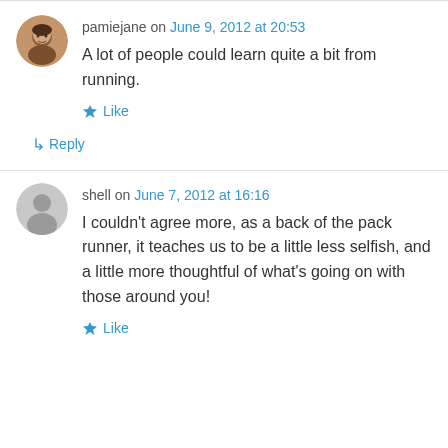pamiejane on June 9, 2012 at 20:53
A lot of people could learn quite a bit from running.
★ Like
↳ Reply
shell on June 7, 2012 at 16:16
I couldn't agree more, as a back of the pack runner, it teaches us to be a little less selfish, and a little more thoughtful of what's going on with those around you!
★ Like